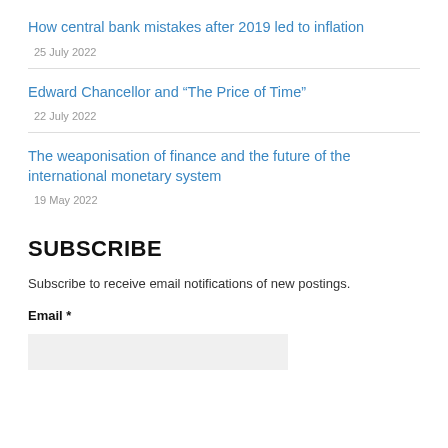How central bank mistakes after 2019 led to inflation
25 July 2022
Edward Chancellor and “The Price of Time”
22 July 2022
The weaponisation of finance and the future of the international monetary system
19 May 2022
SUBSCRIBE
Subscribe to receive email notifications of new postings.
Email *